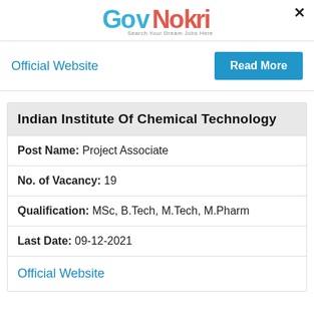GovNokri – Search Your Dream Jobs Here
Official Website
Read More
Indian Institute Of Chemical Technology
Post Name: Project Associate
No. of Vacancy: 19
Qualification: MSc, B.Tech, M.Tech, M.Pharm
Last Date: 09-12-2021
Official Website